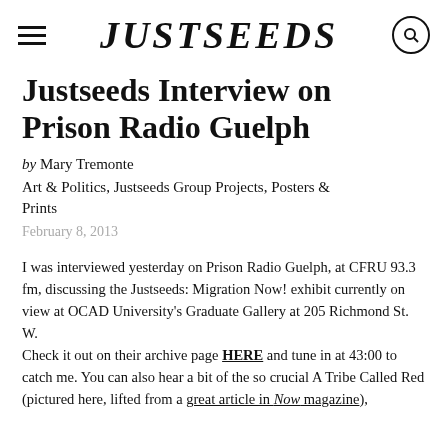JUSTSEEDS
Justseeds Interview on Prison Radio Guelph
by Mary Tremonte
Art & Politics, Justseeds Group Projects, Posters & Prints
February 8, 2013
I was interviewed yesterday on Prison Radio Guelph, at CFRU 93.3 fm, discussing the Justseeds: Migration Now! exhibit currently on view at OCAD University's Graduate Gallery at 205 Richmond St. W.
Check it out on their archive page HERE and tune in at 43:00 to catch me. You can also hear a bit of the so crucial A Tribe Called Red (pictured here, lifted from a great article in Now magazine),